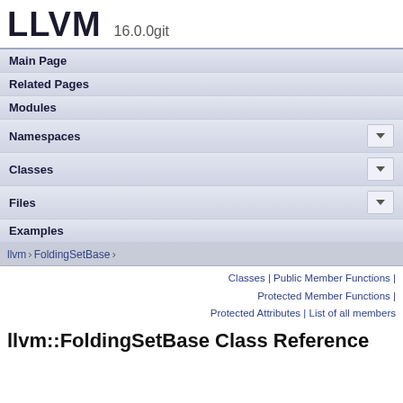LLVM 16.0.0git
Main Page
Related Pages
Modules
Namespaces
Classes
Files
Examples
llvm > FoldingSetBase
Classes | Public Member Functions | Protected Member Functions | Protected Attributes | List of all members
llvm::FoldingSetBase Class Reference